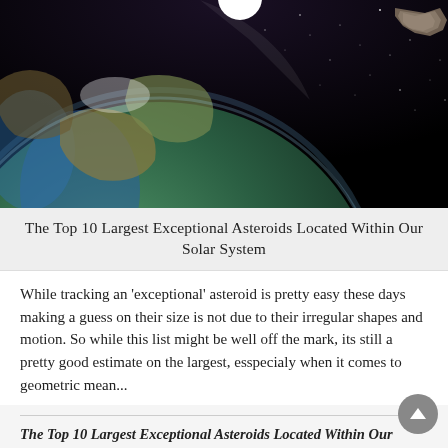[Figure (photo): Space illustration showing Earth from orbit with a bright sun glowing in the upper background and a rocky asteroid visible at the upper right, against a starry black space background.]
The Top 10 Largest Exceptional Asteroids Located Within Our Solar System
While tracking an 'exceptional' asteroid is pretty easy these days making a guess on their size is not due to their irregular shapes and motion. So while this list might be well off the mark, its still a pretty good estimate on the largest, esspecialy when it comes to geometric mean...
The Top 10 Largest Exceptional Asteroids Located Within Our Solar System